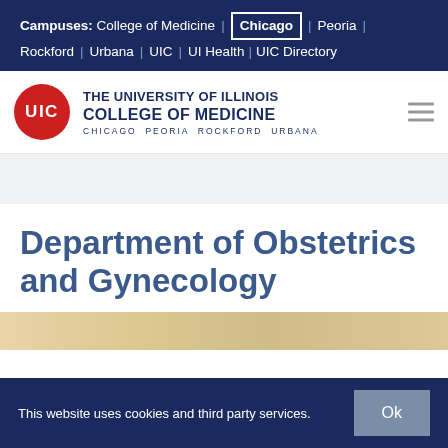Campuses: College of Medicine | Chicago | Peoria | Rockford | Urbana | UIC | UI Health | UIC Directory
[Figure (logo): UIC red circle logo with white 'UIC' text, followed by 'The University of Illinois College of Medicine' in dark navy bold text, with 'Chicago Peoria Rockford Urbana' beneath]
Department of Obstetrics and Gynecology
[Figure (photo): Partial photo strip at bottom of page, showing blurred background in light tan/cream colors]
This website uses cookies and third party services.